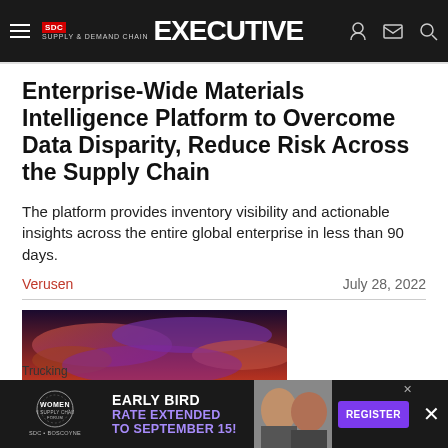SDC Supply & Demand Chain Executive
Enterprise-Wide Materials Intelligence Platform to Overcome Data Disparity, Reduce Risk Across the Supply Chain
The platform provides inventory visibility and actionable insights across the entire global enterprise in less than 90 days.
Verusen — July 28, 2022
[Figure (photo): Highway with trucks and dramatic sunset sky]
Trucking
[Figure (infographic): Advertisement banner: Women in Supply Chain Forum — Early Bird Rate Extended to September 15! Register]